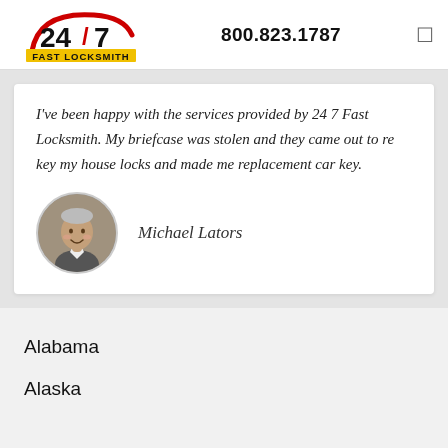[Figure (logo): 24/7 Fast Locksmith logo with red arc and yellow banner]
800.823.1787
I've been happy with the services provided by 24 7 Fast Locksmith. My briefcase was stolen and they came out to re key my house locks and made me replacement car key.
[Figure (photo): Circular portrait photo of Michael Lators, an older man in a suit]
Michael Lators
Alabama
Alaska